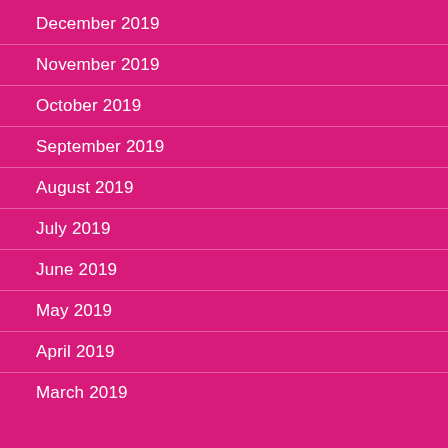December 2019
November 2019
October 2019
September 2019
August 2019
July 2019
June 2019
May 2019
April 2019
March 2019